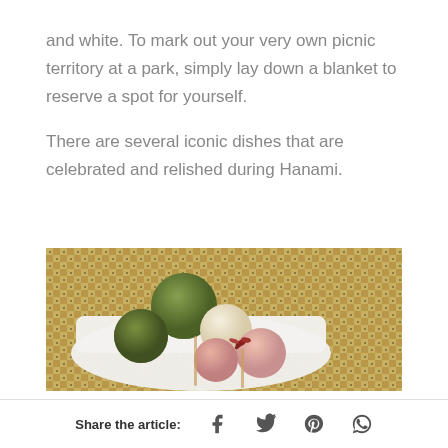and white. To mark out your very own picnic territory at a park, simply lay down a blanket to reserve a spot for yourself.

There are several iconic dishes that are celebrated and relished during Hanami.
[Figure (photo): Photo of hanami dango (Japanese sweet rice balls) on a white plate — green, white, and pink mochi balls on skewers, garnished with dried flower petals, placed on a woven bamboo mat background.]
Share the article: